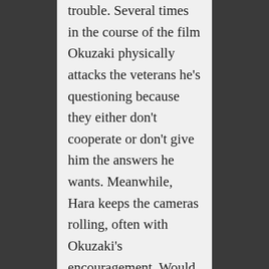trouble. Several times in the course of the film Okuzaki physically attacks the veterans he's questioning because they either don't cooperate or don't give him the answers he wants. Meanwhile, Hara keeps the cameras rolling, often with Okuzaki's encouragement. Would Okuzaki be acting this way if the camera wasn't there? Who knows? Although he may be crazy, he's not stupid and Okuzaki knows that with the camera there, he'll reach a wider audience, so perhaps he wants to put on a good show.